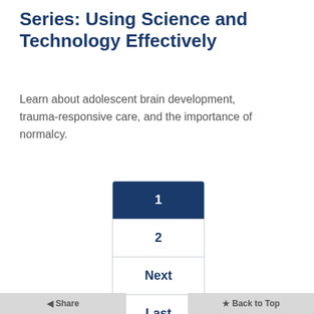Series: Using Science and Technology Effectively
Learn about adolescent brain development, trauma-responsive care, and the importance of normalcy.
[Figure (other): Vertical pagination widget with four items: item 1 (active, dark blue background), item 2, Next, and Last]
◄ Share
★ Back to Top